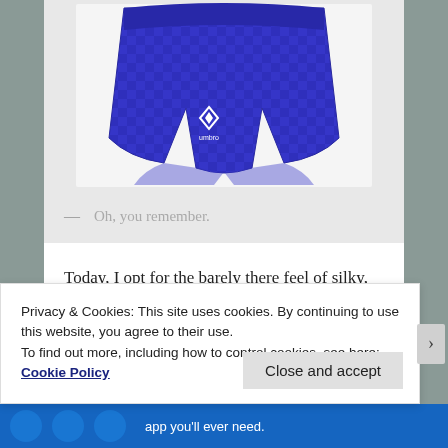[Figure (photo): Blue Umbro checkered athletic shorts product photo against light gray background]
— Oh, you remember.
Today, I opt for the barely there feel of silky, wicking fabrics—just enough to cover the tan lines. Because even a 4" inseam in 100% humidity can feel like a parachute in a rainstorm. It's not because I'm trying to show off my
Privacy & Cookies: This site uses cookies. By continuing to use this website, you agree to their use.
To find out more, including how to control cookies, see here: Cookie Policy